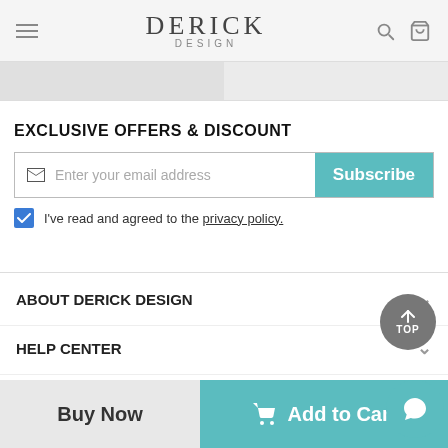DERICK DESIGN
EXCLUSIVE OFFERS & DISCOUNT
Enter your email address
Subscribe
I've read and agreed to the privacy policy.
ABOUT DERICK DESIGN
HELP CENTER
EXPLORE Derick Design
Buy Now
Add to Cart